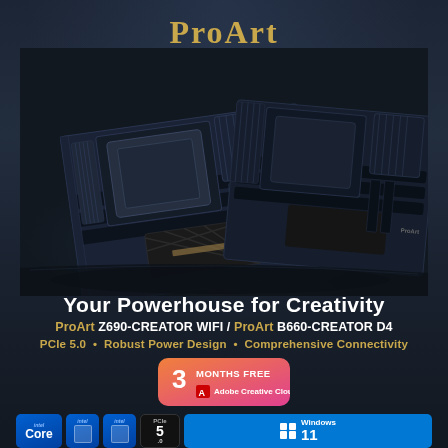ProArt
[Figure (photo): Two ASUS ProArt motherboards (Z690-CREATOR WIFI and B660-CREATOR D4) displayed at an angle against a dark blue-grey background, showing PCB with heatsinks, PCIe slots, and components]
Your Powerhouse for Creativity
ProArt Z690-CREATOR WIFI / ProArt B660-CREATOR D4
PCIe 5.0 • Robust Power Design • Comprehensive Connectivity
[Figure (logo): 3 MONTHS FREE Adobe Creative Cloud badge - pink/orange gradient rounded rectangle with Adobe CC logo]
[Figure (logo): Bottom row of certification/compatibility badges: Intel Core badge, two Intel chip badges, PCIe 5.0 badge, Windows 11 badge]